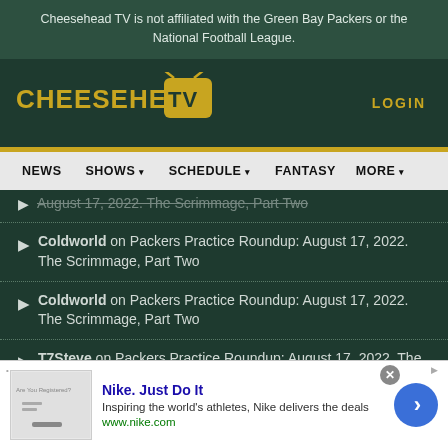Cheesehead TV is not affiliated with the Green Bay Packers or the National Football League.
[Figure (logo): Cheesehead TV logo — yellow text 'CHEESEHEAD' with orange/yellow TV icon containing 'TV']
LOGIN
NEWS  SHOWS  SCHEDULE  FANTASY  MORE
Coldworld on Packers Practice Roundup: August 17, 2022. The Scrimmage, Part Two
Coldworld on Packers Practice Roundup: August 17, 2022. The Scrimmage, Part Two
T7Steve on Packers Practice Roundup: August 17, 2022. The Scrimmage, Part Two
dabbar on Hello Wisconsin: Tim's Outlook for
Nike. Just Do It
Inspiring the world's athletes, Nike delivers the deals
www.nike.com